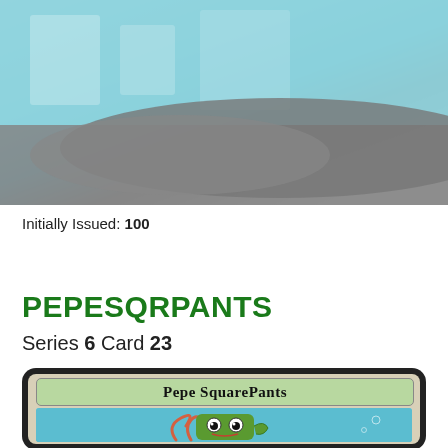[Figure (photo): Top portion of a card image showing a teal/blue and gray blurred background]
Initially Issued: 100
PEPESQRPANTS
Series 6 Card 23
[Figure (illustration): Trading card for Pepe SquarePants showing a green frog character styled as SpongeBob SquarePants with orange tentacles on a teal underwater background, with header text 'Pepe SquarePants']